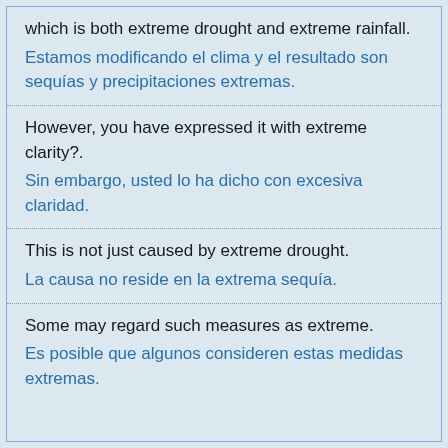which is both extreme drought and extreme rainfall.
Estamos modificando el clima y el resultado son sequías y precipitaciones extremas.
However, you have expressed it with extreme clarity?.
Sin embargo, usted lo ha dicho con excesiva claridad.
This is not just caused by extreme drought.
La causa no reside en la extrema sequía.
Some may regard such measures as extreme.
Es posible que algunos consideren estas medidas extremas.